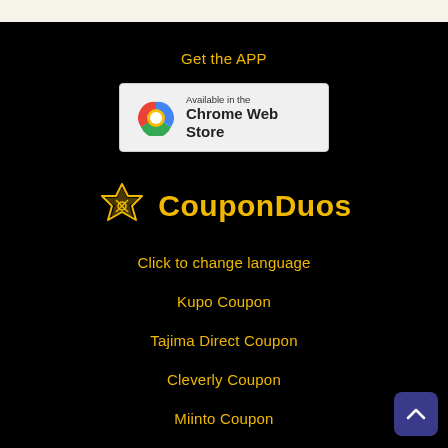Get the APP
[Figure (logo): Available in the Chrome Web Store badge with Chrome logo]
[Figure (logo): CouponDuos logo with star/badge icon and bold yellow text]
Click to change language
Kupo Coupon
Tajima Direct Coupon
Cleverly Coupon
Miinto Coupon